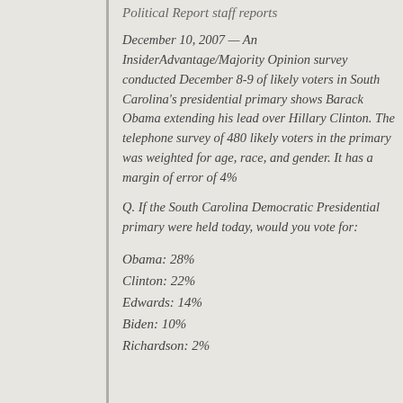Political Report staff reports
December 10, 2007 — An InsiderAdvantage/Majority Opinion survey conducted December 8-9 of likely voters in South Carolina's presidential primary shows Barack Obama extending his lead over Hillary Clinton. The telephone survey of 480 likely voters in the primary was weighted for age, race, and gender. It has a margin of error of 4%
Q. If the South Carolina Democratic Presidential primary were held today, would you vote for:
Obama: 28%
Clinton: 22%
Edwards: 14%
Biden: 10%
Richardson: 2%